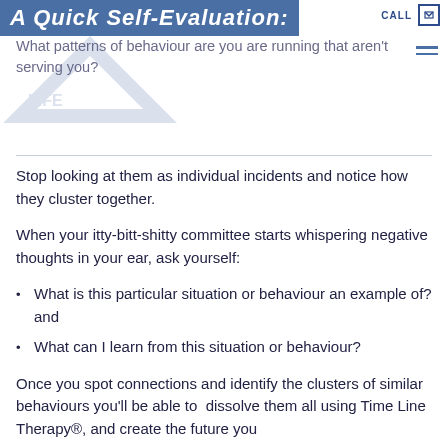A Quick Self-Evaluation:
What patterns of behaviour are you are running that aren't serving you?
Stop looking at them as individual incidents and notice how they cluster together.
When your itty-bitt-shitty committee starts whispering negative thoughts in your ear, ask yourself:
What is this particular situation or behaviour an example of? and
What can I learn from this situation or behaviour?
Once you spot connections and identify the clusters of similar behaviours you'll be able to  dissolve them all using Time Line Therapy®, and create the future you